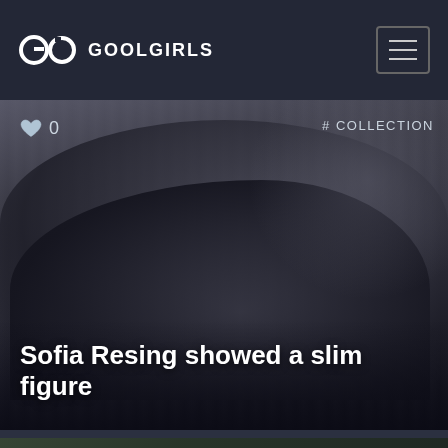GOOLGIRLS
[Figure (photo): Black and white photo of Sofia Resing reclining, with heart/like icon showing 0 and #COLLECTION tag overlay. Caption: Sofia Resing showed a slim figure]
[Figure (photo): Partial second card showing outdoor/car scene with heart icon showing 0 and #COLLECTION tag]